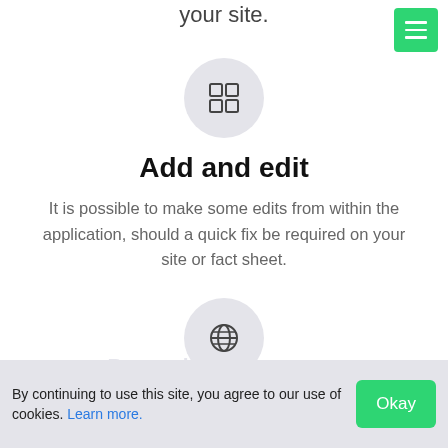your site.
[Figure (illustration): Grey circle icon containing a 2x2 grid/apps icon]
Add and edit
It is possible to make some edits from within the application, should a quick fix be required on your site or fact sheet.
[Figure (illustration): Grey circle icon containing a globe/world icon]
By continuing to use this site, you agree to our use of cookies. Learn more.